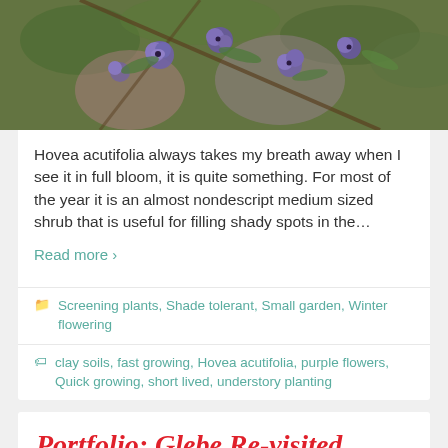[Figure (photo): Close-up photo of purple Hovea acutifolia flowers on a branch with blurred green background]
Hovea acutifolia always takes my breath away when I see it in full bloom, it is quite something. For most of the year it is an almost nondescript medium sized shrub that is useful for filling shady spots in the…
Read more ›
Screening plants, Shade tolerant, Small garden, Winter flowering
clay soils, fast growing, Hovea acutifolia, purple flowers, Quick growing, short lived, understory planting
Portfolio: Glebe Re-visited
[Figure (photo): Street scene photo showing iron fence, street signs and trees in Glebe]